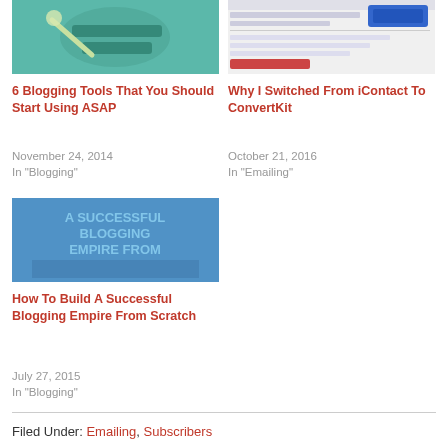[Figure (illustration): Blogging tools article thumbnail - blue-green illustration with tools/wrench]
6 Blogging Tools That You Should Start Using ASAP
November 24, 2014
In "Blogging"
[Figure (screenshot): Why I Switched article thumbnail - screenshot of a webpage]
Why I Switched From iContact To ConvertKit
October 21, 2016
In "Emailing"
[Figure (illustration): Successful Blogging Empire article thumbnail - blue text on image background]
How To Build A Successful Blogging Empire From Scratch
July 27, 2015
In "Blogging"
Filed Under: Emailing, Subscribers